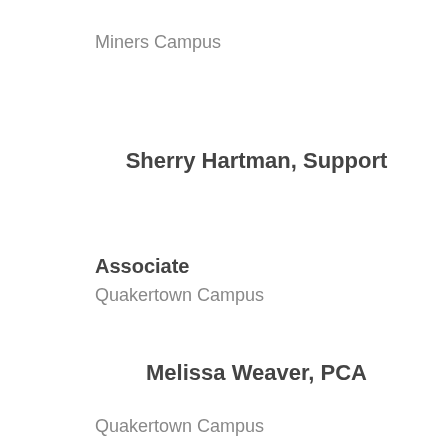Miners Campus
Sherry Hartman, Support
Associate
Quakertown Campus
Melissa Weaver, PCA
Quakertown Campus